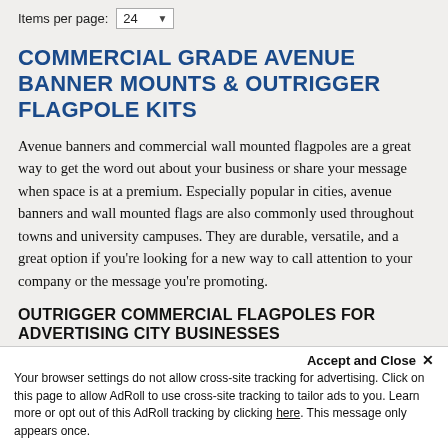Items per page: 24
COMMERCIAL GRADE AVENUE BANNER MOUNTS & OUTRIGGER FLAGPOLE KITS
Avenue banners and commercial wall mounted flagpoles are a great way to get the word out about your business or share your message when space is at a premium. Especially popular in cities, avenue banners and wall mounted flags are also commonly used throughout towns and university campuses. They are durable, versatile, and a great option if you're looking for a new way to call attention to your company or the message you're promoting.
OUTRIGGER COMMERCIAL FLAGPOLES FOR ADVERTISING CITY BUSINESSES
Outrigger flagpoles are a staple in most cityscapes. When a
Accept and Close ×
Your browser settings do not allow cross-site tracking for advertising. Click on this page to allow AdRoll to use cross-site tracking to tailor ads to you. Learn more or opt out of this AdRoll tracking by clicking here. This message only appears once.